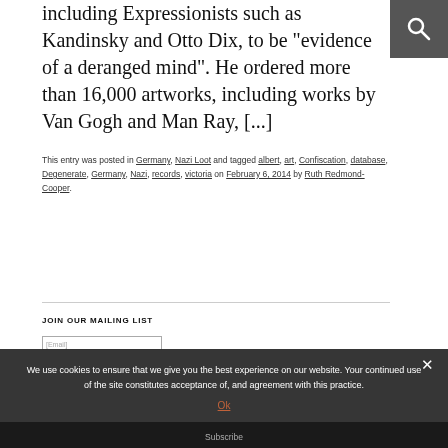including Expressionists such as Kandinsky and Otto Dix, to be "evidence of a deranged mind". He ordered more than 16,000 artworks, including works by Van Gogh and Man Ray, [...]
This entry was posted in Germany, Nazi Loot and tagged albert, art, Confiscation, database, Degenerate, Germany, Nazi, records, victoria on February 6, 2014 by Ruth Redmond-Cooper.
JOIN OUR MAILING LIST
We use cookies to ensure that we give you the best experience on our website. Your continued use of the site constitutes acceptance of, and agreement with this practice.
Ok
Subscribe